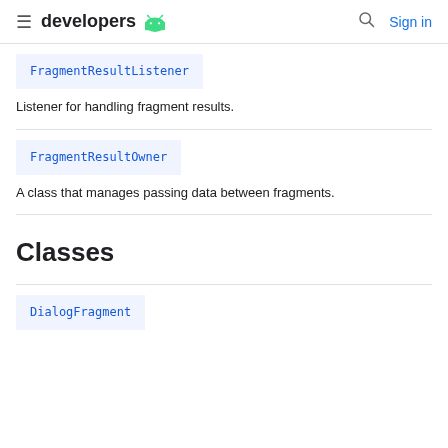developers | Sign in
FragmentResultListener
Listener for handling fragment results.
FragmentResultOwner
A class that manages passing data between fragments.
Classes
DialogFragment